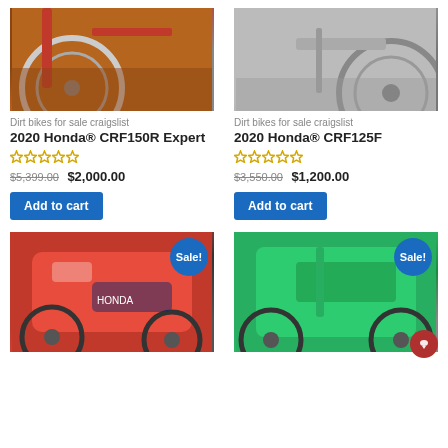[Figure (photo): Red and silver Honda CRF150R Expert dirt bike front wheel close-up on asphalt with autumn leaves]
Dirt bikes for sale craigslist
2020 Honda® CRF150R Expert
Rating: 0 out of 5 stars
$5,399.00  $2,000.00
Add to cart
[Figure (photo): Silver/grey Honda CRF125F dirt bike side view on white background]
Dirt bikes for sale craigslist
2020 Honda® CRF125F
Rating: 0 out of 5 stars
$3,550.00  $1,200.00
Add to cart
[Figure (photo): Red and white Honda CRF250L Rally dirt bike with Sale! badge]
[Figure (photo): Green Kawasaki dirt bike with Sale! badge]